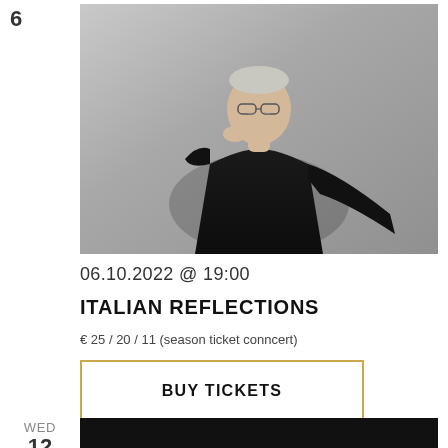6
[Figure (photo): A man in a black long-sleeve shirt, with short light hair and glasses, resting his chin on his hand in a thoughtful pose against a grey background.]
06.10.2022 @ 19:00
ITALIAN REFLECTIONS
€ 25 / 20 / 11 (season ticket conncert)
BUY TICKETS
WED
12
[Figure (photo): Dark/black background photo, partially visible at the bottom of the page.]